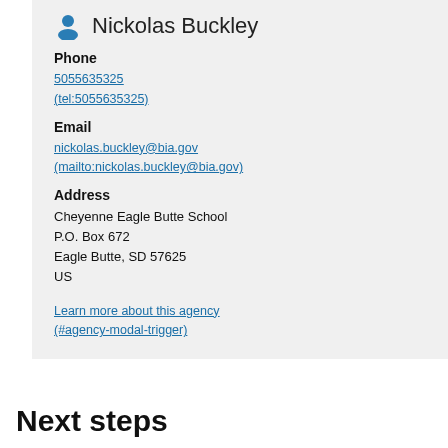Nickolas Buckley
Phone
5055635325
(tel:5055635325)
Email
nickolas.buckley@bia.gov
(mailto:nickolas.buckley@bia.gov)
Address
Cheyenne Eagle Butte School
P.O. Box 672
Eagle Butte, SD 57625
US
Learn more about this agency
(#agency-modal-trigger)
Next steps